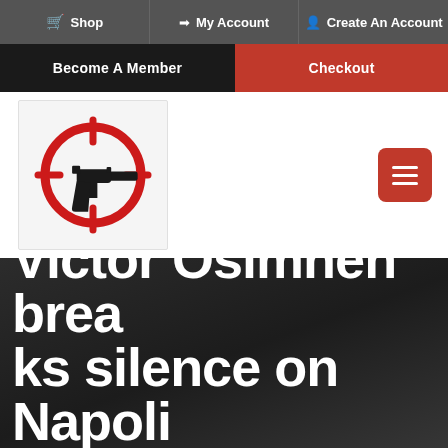Shop | My Account | Create An Account
Become A Member | Checkout
[Figure (logo): Red crosshair/target circle with a black handgun silhouette in the center]
Victor Osimhen breaks silence on Napoli